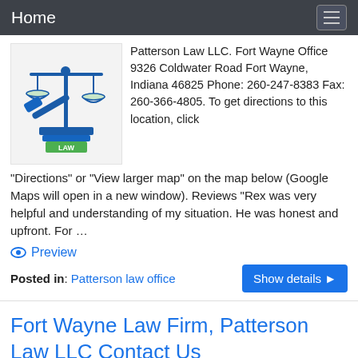Home
[Figure (illustration): Law firm logo showing scales of justice and a gavel with books labeled LAW]
Patterson Law LLC. Fort Wayne Office 9326 Coldwater Road Fort Wayne, Indiana 46825 Phone: 260-247-8383 Fax: 260-366-4805. To get directions to this location, click "Directions" or "View larger map" on the map below (Google Maps will open in a new window). Reviews "Rex was very helpful and understanding of my situation. He was honest and upfront. For …
Preview
Posted in: Patterson law office
Fort Wayne Law Firm, Patterson Law LLC Contact Us